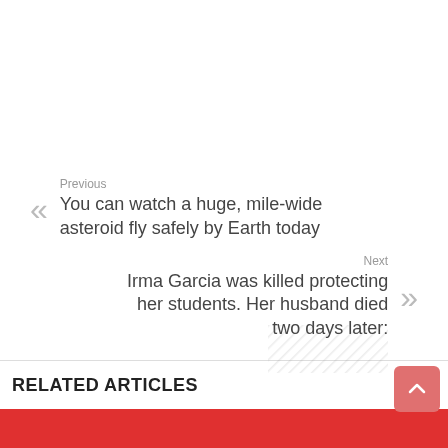Previous
You can watch a huge, mile-wide asteroid fly safely by Earth today
Next
Irma Garcia was killed protecting her students. Her husband died two days later:
RELATED ARTICLES